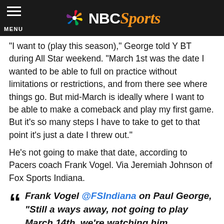NBC Sports
"I want to (play this season)," George told Y BT during All Star weekend. "March 1st was the date I wanted to be able to full on practice without limitations or restrictions, and from there see where things go. But mid-March is ideally where I want to be able to make a comeback and play my first game. But it's so many steps I have to take to get to that point it's just a date I threw out."
He's not going to make that date, according to Pacers coach Frank Vogel. Via Jeremiah Johnson of Fox Sports Indiana.
Frank Vogel @FSIndiana on Paul George, "Still a ways away, not going to play March 14th, we're watching him progress..."
— Jeremiah Johnson